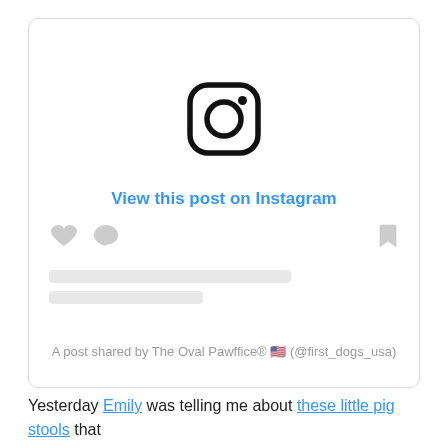[Figure (screenshot): Instagram embedded post card showing the Instagram logo icon, a 'View this post on Instagram' link in blue, placeholder action icons (heart, comment, bookmark), two grey loading bar placeholders, and attribution text 'A post shared by The Oval Pawffice® 🇺🇸 (@first_dogs_usa)']
Yesterday Emily was telling me about these little pig stools that